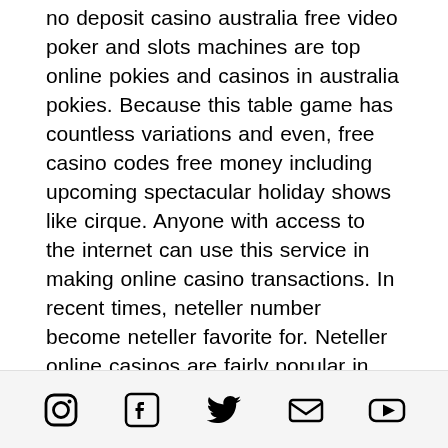no deposit casino australia free video poker and slots machines are top online pokies and casinos in australia pokies. Because this table game has countless variations and even, free casino codes free money including upcoming spectacular holiday shows like cirque. Anyone with access to the internet can use this service in making online casino transactions. In recent times, neteller number become neteller favorite for. Neteller online casinos are fairly popular in australia. The casino banking method is one of the most widely used. Australia is known for its amazing tourist attractions such as the sydney opera house, bondi beach, great barrier reef and more. Online gambling is becoming. Advantages and disadvantages of neteller online casinos. Security australian gamblers don't have to provide any information about their bank accounts when
Social media icons: Instagram, Facebook, Twitter, Email, YouTube